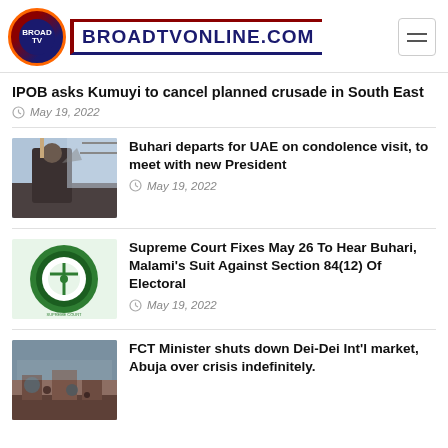BROADTVONLINE.COM
IPOB asks Kumuyi to cancel planned crusade in South East
May 19, 2022
[Figure (photo): Man in traditional attire waving, standing near aircraft steps]
Buhari departs for UAE on condolence visit, to meet with new President
May 19, 2022
[Figure (logo): Supreme Court of Nigeria seal/logo - green circle with cross emblem]
Supreme Court Fixes May 26 To Hear Buhari, Malami's Suit Against Section 84(12) Of Electoral
May 19, 2022
[Figure (photo): Market scene with people and vehicles]
FCT Minister shuts down Dei-Dei Int'l market, Abuja over crisis indefinitely.